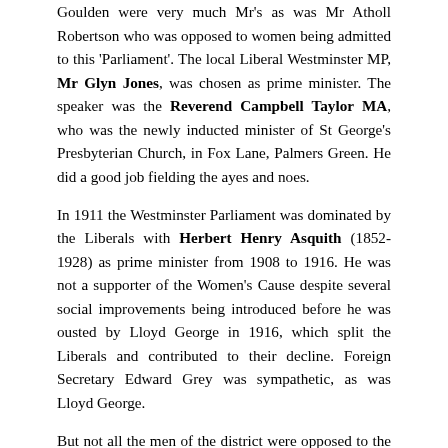Goulden were very much Mr's as was Mr Atholl Robertson who was opposed to women being admitted to this 'Parliament'. The local Liberal Westminster MP, Mr Glyn Jones, was chosen as prime minister. The speaker was the Reverend Campbell Taylor MA, who was the newly inducted minister of St George's Presbyterian Church, in Fox Lane, Palmers Green. He did a good job fielding the ayes and noes.
In 1911 the Westminster Parliament was dominated by the Liberals with Herbert Henry Asquith (1852-1928) as prime minister from 1908 to 1916. He was not a supporter of the Women's Cause despite several social improvements being introduced before he was ousted by Lloyd George in 1916, which split the Liberals and contributed to their decline. Foreign Secretary Edward Grey was sympathetic, as was Lloyd George.
But not all the men of the district were opposed to the women's demands; Mr Goulden, of course was a notable supporter as was Victor Prout and they were among